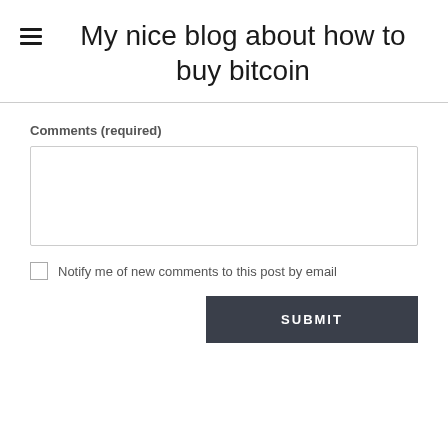My nice blog about how to buy bitcoin
Comments (required)
Notify me of new comments to this post by email
SUBMIT